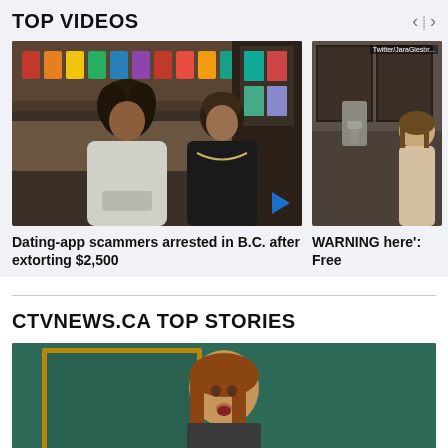TOP VIDEOS
[Figure (photo): Security camera footage of two young men in a convenience store. One wearing a light grey hoodie, one in a black sweatshirt with a chain necklace.]
Dating-app scammers arrested in B.C. after extorting $2,500
[Figure (photo): Partial photo with Twitter/JaraGiesbrecht watermark, showing a scene with what appears to be a water fountain area.]
WARNING here': Free
CTVNEWS.CA TOP STORIES
[Figure (photo): Photo of a woman with long brown hair speaking, framed by a golden picture frame on a teal/green background.]